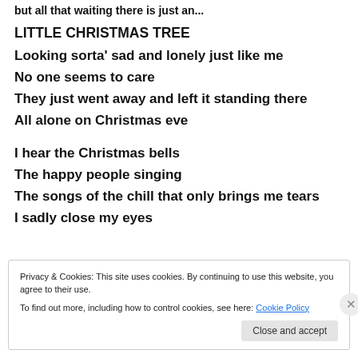but all that waiting there is just an...
LITTLE CHRISTMAS TREE
Looking sorta’ sad and lonely just like me
No one seems to care
They just went away and left it standing there
All alone on Christmas eve
I hear the Christmas bells
The happy people singing
The songs of the chill that only brings me tears
I sadly close my eyes
Privacy & Cookies: This site uses cookies. By continuing to use this website, you agree to their use.
To find out more, including how to control cookies, see here: Cookie Policy